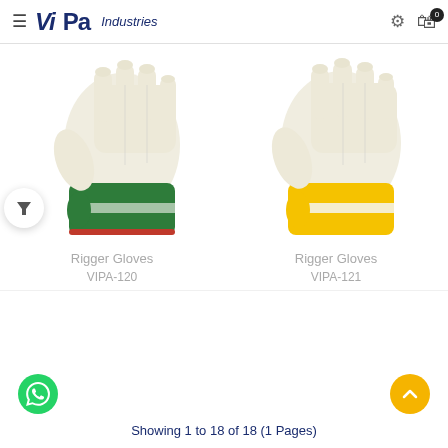VIPA Industries
[Figure (photo): Green and white leather rigger work glove]
Rigger Gloves
VIPA-120
[Figure (photo): Yellow and white leather rigger work glove with reflective strip]
Rigger Gloves
VIPA-121
Showing 1 to 18 of 18 (1 Pages)